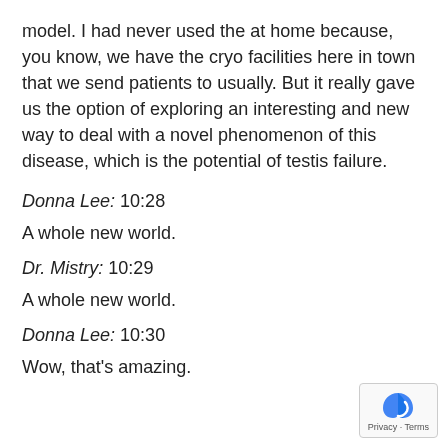model. I had never used the at home because, you know, we have the cryo facilities here in town that we send patients to usually. But it really gave us the option of exploring an interesting and new way to deal with a novel phenomenon of this disease, which is the potential of testis failure.
Donna Lee: 10:28
A whole new world.
Dr. Mistry: 10:29
A whole new world.
Donna Lee: 10:30
Wow, that's amazing.